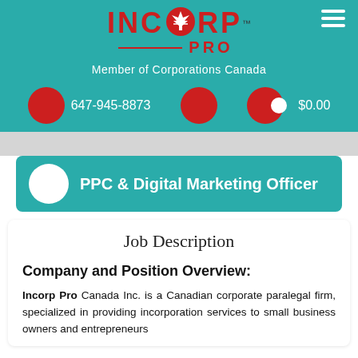[Figure (logo): Incorp Pro logo with red maple leaf icon and TM mark, teal background]
Member of Corporations Canada
647-945-8873   $0.00
PPC & Digital Marketing Officer
Job Description
Company and Position Overview:
Incorp Pro Canada Inc. is a Canadian corporate paralegal firm, specialized in providing incorporation services to small business owners and entrepreneurs